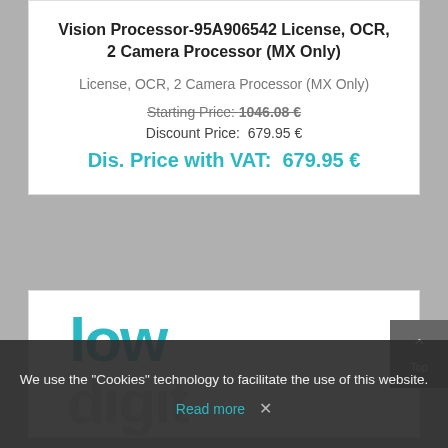Vision Processor-95A906542 License, OCR, 2 Camera Processor (MX Only)
License, OCR, 2 Camera Processor (MX Only)
Starting Price: 1046.08 €
Discount Price: 679.95 €
Dis. Price with VAT: 679.95 €
[Figure (logo): Partial logo showing 'low' in teal and 'digit' in grey, partially visible]
Top
We use the "Cookies" technology to facilitate the use of this website.
Read more
×